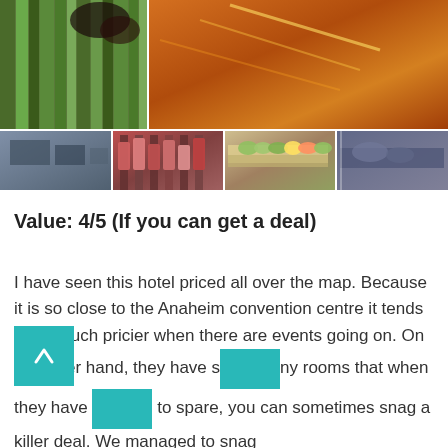[Figure (photo): A collage of market/food hall photos: top row shows fresh vegetables (green stalks) on left and a close-up of grilled/cooked meats on right; bottom row shows four smaller images of market stalls including clothing racks, fresh produce displays, and food counters.]
Value: 4/5 (If you can get a deal)
I have seen this hotel priced all over the map. Because it is so close to the Anaheim convention centre it tends to be much pricier when there are events going on. On the other hand, they have s[o] many rooms that when they have [rooms] to spare, you can sometimes snag a killer deal. We managed to snag